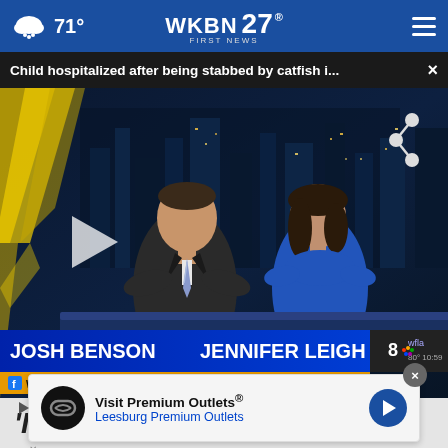71° WKBN FIRST NEWS 27
Child hospitalized after being stabbed by catfish i... ×
[Figure (screenshot): TV news broadcast screenshot showing two anchors at a desk. Male anchor on left identified as JOSH BENSON with Facebook handle WFLAJosh; female anchor on right identified as JENNIFER LEIGH with Facebook handle JenniferLeighWFLA. WFLA channel 8 logo visible. Studio set with city skyline background. Play button overlay visible.]
'It's at 97
Visit Premium Outlets® Leesburg Premium Outlets